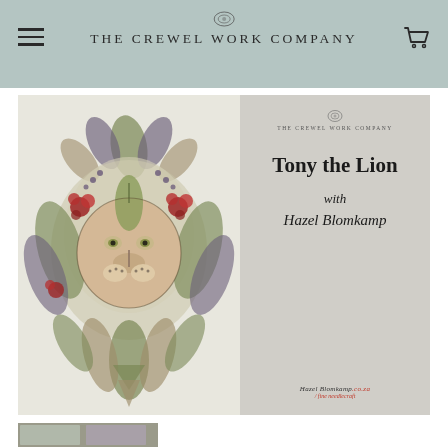The Crewel Work Company
[Figure (illustration): Embroidered lion design (Tony the Lion) with decorative floral and patterned elements, shown alongside a product card reading 'Tony the Lion with Hazel Blomkamp' with The Crewel Work Company logo]
[Figure (photo): Partial thumbnail image at bottom of page]